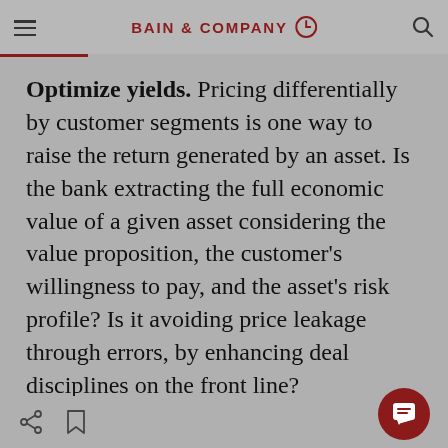BAIN & COMPANY
Optimize yields. Pricing differentially by customer segments is one way to raise the return generated by an asset. Is the bank extracting the full economic value of a given asset considering the value proposition, the customer's willingness to pay, and the asset's risk profile? Is it avoiding price leakage through errors, by enhancing deal disciplines on the front line?
Raising prices selectively makes sense where there is lower price sensitivity. Consider